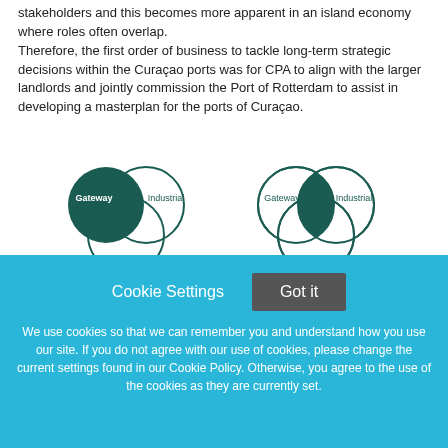stakeholders and this becomes more apparent in an island economy where roles often overlap. Therefore, the first order of business to tackle long-term strategic decisions within the Curaçao ports was for CPA to align with the larger landlords and jointly commission the Port of Rotterdam to assist in developing a masterplan for the ports of Curaçao.
[Figure (other): Two Venn diagrams side by side, each showing three overlapping circles labeled Gateway, Industrial, and a third unlabeled circle. In the left diagram, the Gateway circle is filled dark teal. In the right diagram, the overlapping intersection of Gateway and Industrial is filled dark teal.]
Cookie Settings   Got it
We use cookies so that we can remember you and understand how you use our site. If you do not agree with our use of cookies, please change the current settings found in our Cookie Policy. Otherwise, you agree to the use of the cookies as they are currently set.